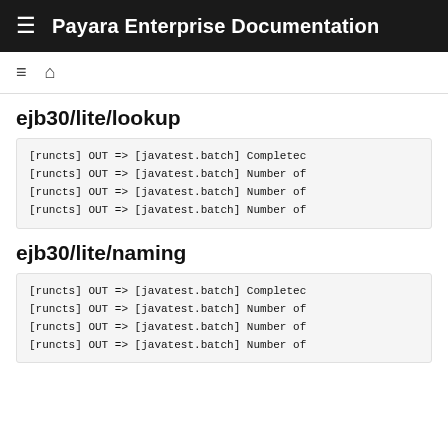Payara Enterprise Documentation
ejb30/lite/lookup
[runcts] OUT => [javatest.batch] Completed
[runcts] OUT => [javatest.batch] Number of
[runcts] OUT => [javatest.batch] Number of
[runcts] OUT => [javatest.batch] Number of
ejb30/lite/naming
[runcts] OUT => [javatest.batch] Completed
[runcts] OUT => [javatest.batch] Number of
[runcts] OUT => [javatest.batch] Number of
[runcts] OUT => [javatest.batch] Number of